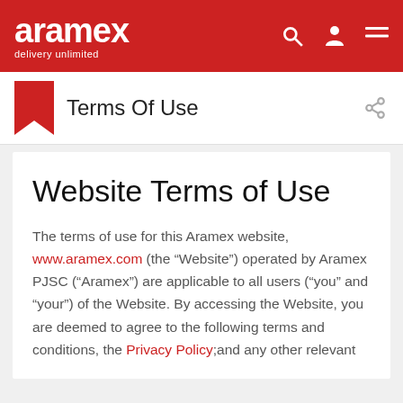aramex delivery unlimited
Terms Of Use
Website Terms of Use
The terms of use for this Aramex website, www.aramex.com (the “Website”) operated by Aramex PJSC (“Aramex”) are applicable to all users (“you” and “your”) of the Website. By accessing the Website, you are deemed to agree to the following terms and conditions, the Privacy Policy;and any other relevant